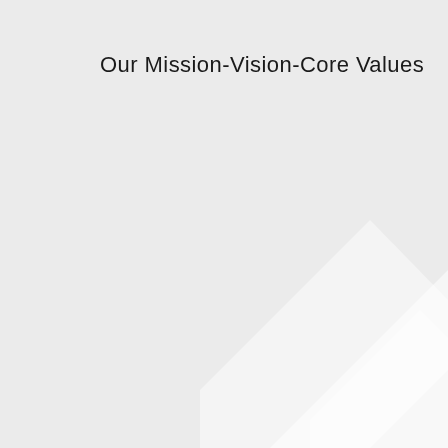Our Mission-Vision-Core Values
[Figure (illustration): Decorative background with two overlapping light-colored diamond/chevron shapes in the bottom-right corner of the page, rendered in subtle light grey tones against the page background.]